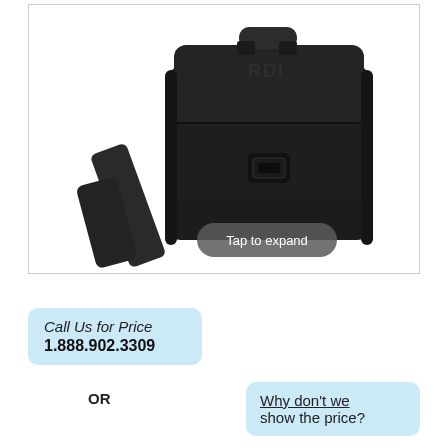[Figure (photo): Black RDI branded carry bag with shoulder strap and buckle clasp, shown on white background with a 'Tap to expand' pill overlay button]
Call Us for Price
1.888.902.3309
OR
Why don't we show the price?